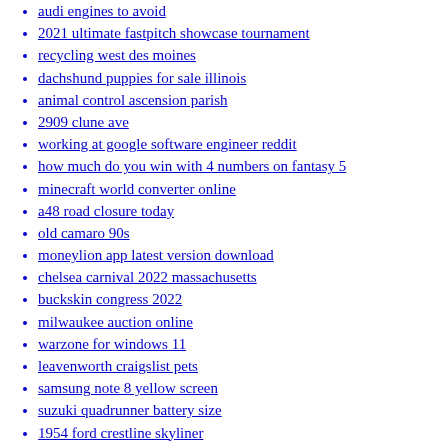audi engines to avoid
2021 ultimate fastpitch showcase tournament
recycling west des moines
dachshund puppies for sale illinois
animal control ascension parish
2909 clune ave
working at google software engineer reddit
how much do you win with 4 numbers on fantasy 5
minecraft world converter online
a48 road closure today
old camaro 90s
moneylion app latest version download
chelsea carnival 2022 massachusetts
buckskin congress 2022
milwaukee auction online
warzone for windows 11
leavenworth craigslist pets
samsung note 8 yellow screen
suzuki quadrunner battery size
1954 ford crestline skyliner
hugging someone taller than you is the best feeling ever
dignity memorial bakersfield
dozer ticket toowoomba
wolverhampton to penkridge bus
edexcel maths grade boundaries 2022